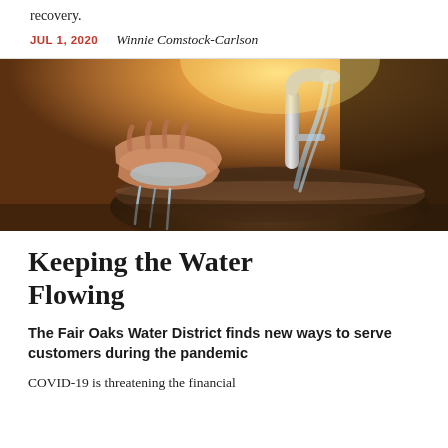recovery.
JUL 1, 2020   Winnie Comstock-Carlson
[Figure (photo): Hands cupped under a running faucet in a sink, warm golden backlit sunlight, water splashing, chrome tap]
Keeping the Water Flowing
The Fair Oaks Water District finds new ways to serve customers during the pandemic
COVID-19 is threatening the financial